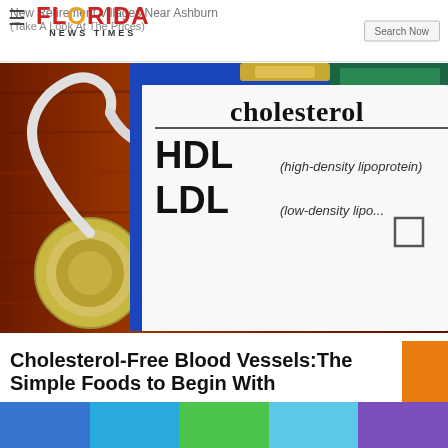Florida News Times
[Figure (photo): Medical clipboard with cholesterol test form showing HDL (high-density lipoprotein) and LDL (low-density lipoprotein) checkboxes, alongside a stethoscope on a wooden desk background.]
Cholesterol-Free Blood Vessels: The Simple Foods to Begin With